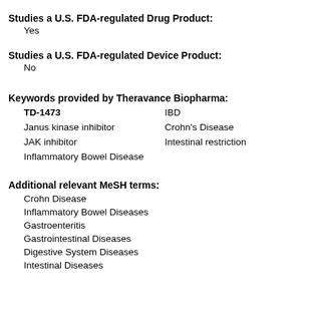Studies a U.S. FDA-regulated Drug Product:
Yes
Studies a U.S. FDA-regulated Device Product:
No
Keywords provided by Theravance Biopharma:
TD-1473
IBD
Janus kinase inhibitor
Crohn's Disease
JAK inhibitor
Intestinal restriction
Inflammatory Bowel Disease
Additional relevant MeSH terms:
Crohn Disease
Inflammatory Bowel Diseases
Gastroenteritis
Gastrointestinal Diseases
Digestive System Diseases
Intestinal Diseases